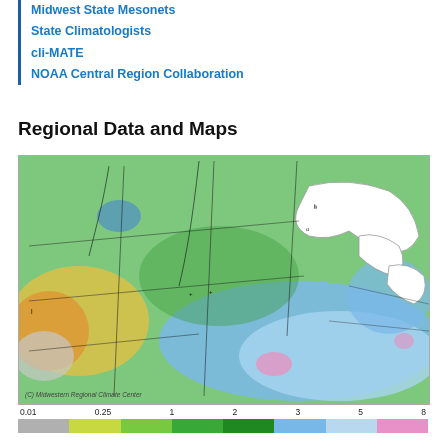Midwest State Mesonets
State Climatologists
cli-MATE
NOAA Central Region Collaboration
Regional Data and Maps
[Figure (map): Color-shaded regional climate map of the Midwest and surrounding states showing precipitation or temperature anomaly data. Colors range from gray and yellow-orange in the west/southwest to green in the north/central areas and blue/light blue in the east/southeast. Great Lakes region shown in white. Pink spots visible in the central-south area. Labeled: (C) Midwestern Regional Climate Center]
0.01   0.25   1   2   3   5   8
[Figure (infographic): Color legend bar showing scale from 0.01 to 8 with colors: gray, yellow-green, green shades, blue, light blue, pink]